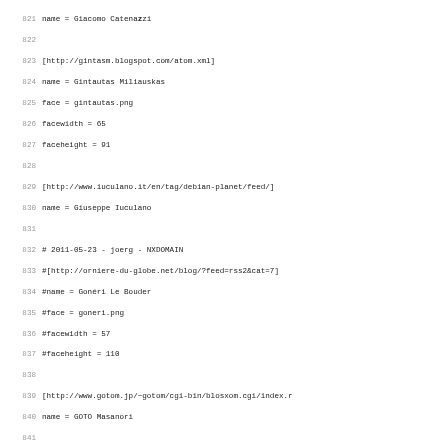Code/config file listing lines 821-852 showing Planet Debian feed configuration entries with names, face images, and dimensions.